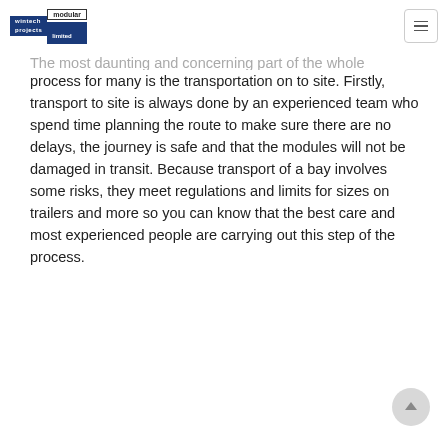wintech modular projects limited
The most daunting and concerning part of the whole process for many is the transportation on to site. Firstly, transport to site is always done by an experienced team who spend time planning the route to make sure there are no delays, the journey is safe and that the modules will not be damaged in transit. Because transport of a bay involves some risks, they meet regulations and limits for sizes on trailers and more so you can know that the best care and most experienced people are carrying out this step of the process.